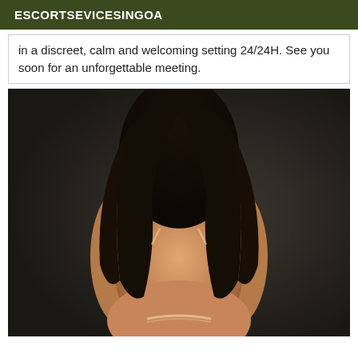ESCORTSEVICESINGOA
in a discreet, calm and welcoming setting 24/24H. See you soon for an unforgettable meeting.
[Figure (photo): Photo of a woman viewed from behind with long dark hair, wearing minimal clothing, posed against a dark background.]